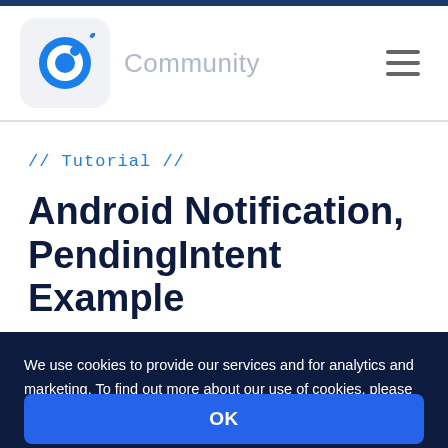Community
// Tutorial //
Android Notification, PendingIntent Example
We use cookies to provide our services and for analytics and marketing. To find out more about our use of cookies, please see our Privacy Policy. By continuing to browse our website, you agree to our use of cookies.
OK